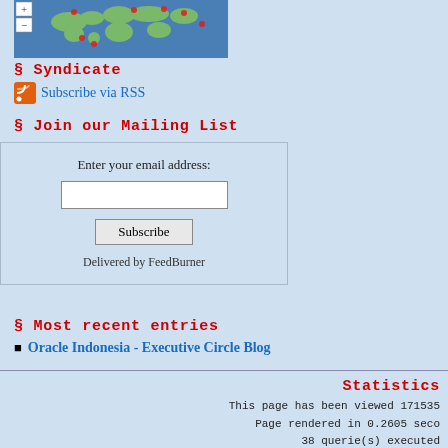[Figure (map): World map with red location markers and zoom +/- buttons]
§ Syndicate
Subscribe via RSS
§ Join our Mailing List
Enter your email address: [input] Subscribe Delivered by FeedBurner
§ Most recent entries
Oracle Indonesia - Executive Circle Blog
Statistics
This page has been viewed 171535
Page rendered in 0.2605 seco
38 querie(s) executed
Debug mode is on
Total Entries: 256
Total Comments: 192
Most Recent Entry: 11/29/2020 1